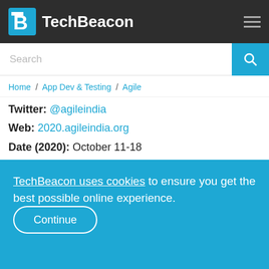TechBeacon
[Figure (screenshot): Search bar with magnifying glass button]
Home / App Dev & Testing / Agile
Twitter: @agileindia
Web: 2020.agileindia.org
Date (2020): October 11-18
Location (2020): Virtual
Cost (2020): Conference, Rs15,000 to Rs45,000
(four-day pass); workshops Rs5,000 to Rs30,000
TechBeacon uses cookies to ensure you get the best possible online experience. Continue